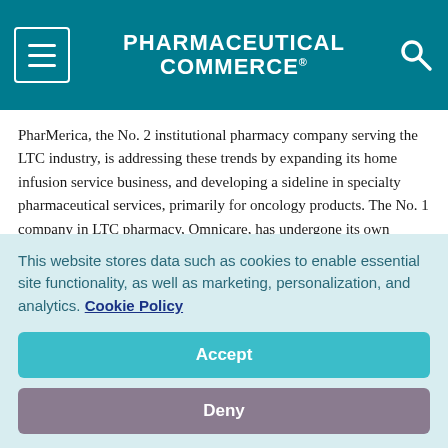PHARMACEUTICAL COMMERCE
PharMerica, the No. 2 institutional pharmacy company serving the LTC industry, is addressing these trends by expanding its home infusion service business, and developing a sideline in specialty pharmaceutical services, primarily for oncology products. The No. 1 company in LTC pharmacy, Omnicare, has undergone its own dramatic change, being acquired by CVS Health in 2015. A year later, that action by CVS is already benefitting its bottom line profitability.
Aside from these two market leaders, there are approximately
This website stores data such as cookies to enable essential site functionality, as well as marketing, personalization, and analytics. Cookie Policy
Accept
Deny